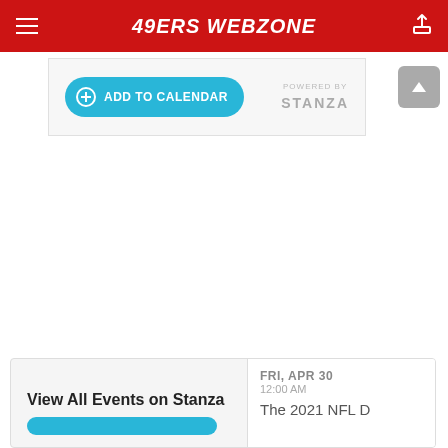49ERS WEBZONE
[Figure (screenshot): Add to Calendar button banner powered by Stanza]
View All Events on Stanza
FRI, APR 30
12:00 AM
The 2021 NFL D